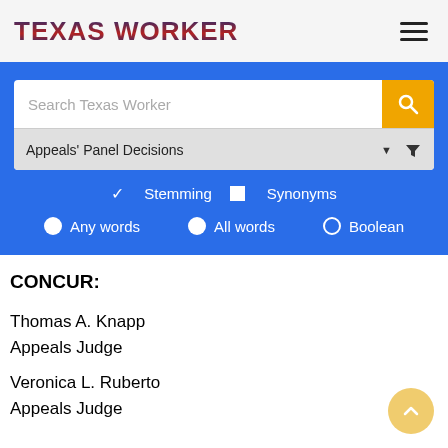TEXAS WORKER
[Figure (screenshot): Search interface with search bar showing 'Search Texas Worker', dropdown for 'Appeals' Panel Decisions', Stemming/Synonyms checkboxes, and Any words/All words/Boolean radio buttons]
CONCUR:
Thomas A. Knapp
Appeals Judge
Veronica L. Ruberto
Appeals Judge